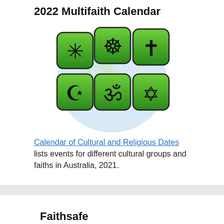2022 Multifaith Calendar
[Figure (illustration): Six green rounded-square icons with religious symbols (Bahai star, Dharma wheel, Christian cross, Islamic crescent and star, Hindu Om, Star of David) arranged around a light blue globe/world map background.]
Calendar of Cultural and Religious Dates lists events for different cultural groups and faiths in Australia, 2021.
Faithsafe